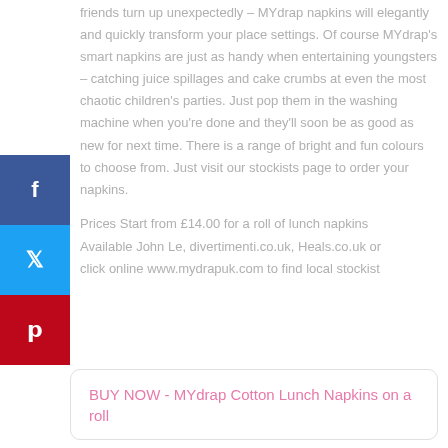friends turn up unexpectedly – MYdrap napkins will elegantly and quickly transform your place settings. Of course MYdrap's smart napkins are just as handy when entertaining youngsters – catching juice spillages and cake crumbs at even the most chaotic children's parties. Just pop them in the washing machine when you're done and they'll soon be as good as new for next time. There is a range of bright and fun colours to choose from. Just visit our stockists page to order your napkins.
Prices Start from £14.00 for a roll of lunch napkins Available John Le, divertimenti.co.uk, Heals.co.uk or click online www.mydrapuk.com to find local stockist
BUY NOW - MYdrap Cotton Lunch Napkins on a roll